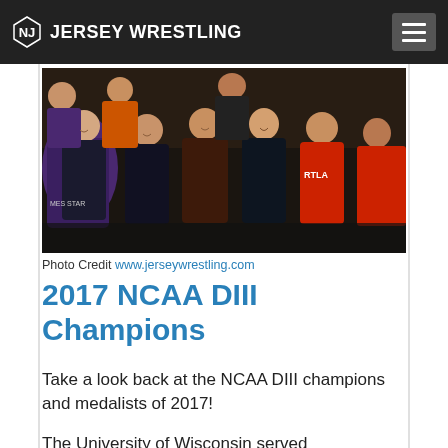JERSEY WRESTLING
[Figure (photo): Group photo of NCAA DIII wrestling champions and medalists of 2017, multiple athletes in team gear posing together indoors]
Photo Credit www.jerseywrestling.com
2017 NCAA DIII Champions
Take a look back at the NCAA DIII champions and medalists of 2017!
The University of Wisconsin served